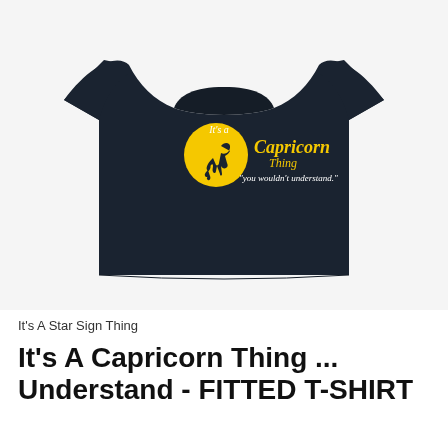[Figure (photo): A black fitted women's t-shirt displayed on a headless mannequin. The shirt features a graphic print with a yellow circular Capricorn zodiac symbol and the text: 'It's a Capricorn Thing you wouldn't understand.' in white and yellow lettering.]
It's A Star Sign Thing
It's A Capricorn Thing ... Understand - FITTED T-SHIRT